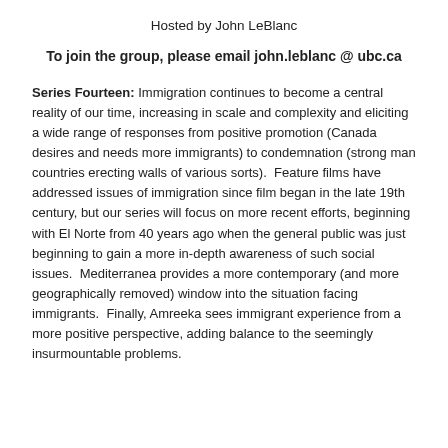Hosted by John LeBlanc
To join the group, please email john.leblanc @ ubc.ca
Series Fourteen: Immigration continues to become a central reality of our time, increasing in scale and complexity and eliciting a wide range of responses from positive promotion (Canada desires and needs more immigrants) to condemnation (strong man countries erecting walls of various sorts).  Feature films have addressed issues of immigration since film began in the late 19th century, but our series will focus on more recent efforts, beginning with El Norte from 40 years ago when the general public was just beginning to gain a more in-depth awareness of such social issues.  Mediterranea provides a more contemporary (and more geographically removed) window into the situation facing immigrants.  Finally, Amreeka sees immigrant experience from a more positive perspective, adding balance to the seemingly insurmountable problems.